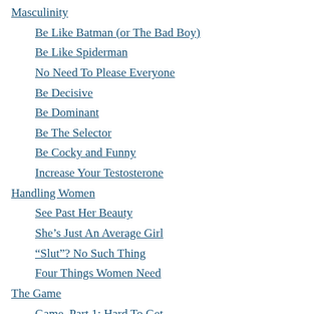Masculinity
Be Like Batman (or The Bad Boy)
Be Like Spiderman
No Need To Please Everyone
Be Decisive
Be Dominant
Be The Selector
Be Cocky and Funny
Increase Your Testosterone
Handling Women
See Past Her Beauty
She's Just An Average Girl
“Slut”? No Such Thing
Four Things Women Need
The Game
Game, Part 1: Hard To Get
Game, Part 2: Unity of Opposites
Philosophers On Game
Quote – Baudrillard: Challenge